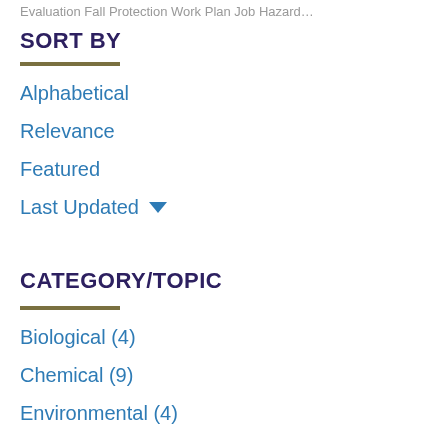Evaluation Fall Protection Work Plan Job Hazard…
SORT BY
Alphabetical
Relevance
Featured
Last Updated ▾
CATEGORY/TOPIC
Biological (4)
Chemical (9)
Environmental (4)
Fire & Life (1)
Radiation (1)